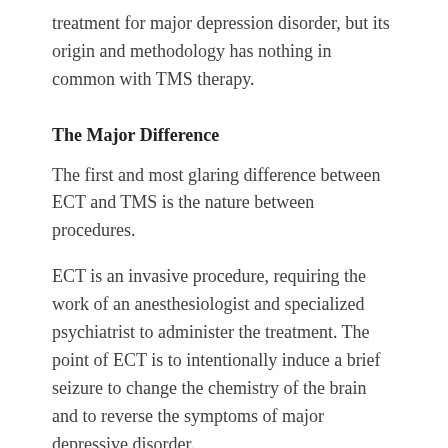treatment for major depression disorder, but its origin and methodology has nothing in common with TMS therapy.
The Major Difference
The first and most glaring difference between ECT and TMS is the nature between procedures.
ECT is an invasive procedure, requiring the work of an anesthesiologist and specialized psychiatrist to administer the treatment. The point of ECT is to intentionally induce a brief seizure to change the chemistry of the brain and to reverse the symptoms of major depressive disorder.